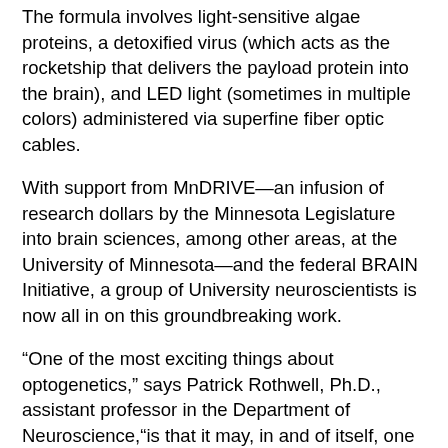The formula involves light-sensitive algae proteins, a detoxified virus (which acts as the rocketship that delivers the payload protein into the brain), and LED light (sometimes in multiple colors) administered via superfine fiber optic cables.
With support from MnDRIVE—an infusion of research dollars by the Minnesota Legislature into brain sciences, among other areas, at the University of Minnesota—and the federal BRAIN Initiative, a group of University neuroscientists is now all in on this groundbreaking work.
“One of the most exciting things about optogenetics,” says Patrick Rothwell, Ph.D., assistant professor in the Department of Neuroscience,“is that it may, in and of itself, one day be used as a treatment strategy, but it may also be used to identify other interventions … based on our discovery of what is actually going wrong in the brain.”
Targeting relapse
There’s a lot scientists still don’t know about the brain and its